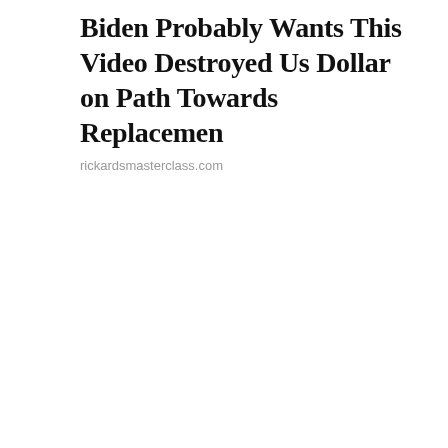Biden Probably Wants This Video Destroyed Us Dollar on Path Towards Replacemen
rickardsmasterclass.com